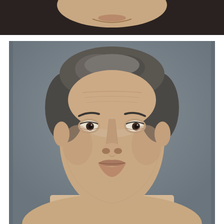[Figure (photo): Two mugshot-style photographs stacked vertically. The top image shows a partial view of a person's lower face (chin and mouth area) against a dark background. The main/lower image is a close-up mugshot of a thin middle-aged man with dark gray hair, deep-set dark eyes, prominent forehead wrinkles, and a narrow face, photographed against a muted gray background.]